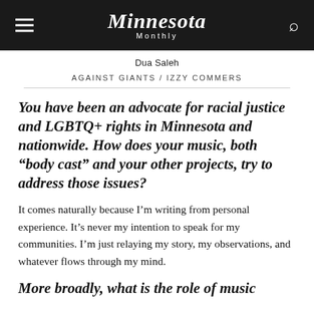Minnesota Monthly
Dua Saleh
AGAINST GIANTS / IZZY COMMERS
You have been an advocate for racial justice and LGBTQ+ rights in Minnesota and nationwide. How does your music, both “body cast” and your other projects, try to address those issues?
It comes naturally because I’m writing from personal experience. It’s never my intention to speak for my communities. I’m just relaying my story, my observations, and whatever flows through my mind.
More broadly, what is the role of music